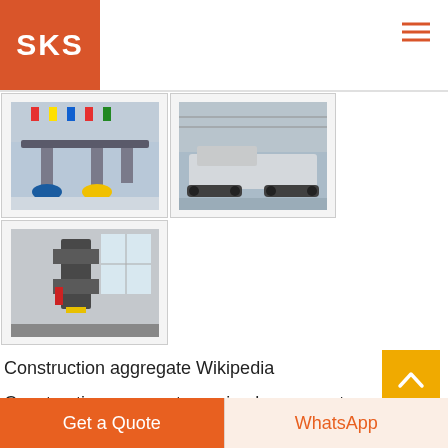[Figure (logo): SKS company logo — white text 'SKS' on orange/red square background]
[Figure (photo): Industrial conveyor/screening equipment inside a warehouse with colorful flags hanging from ceiling]
[Figure (photo): Large mobile crushing/screening machine in a warehouse facility]
[Figure (photo): Industrial vertical crushing or screening machine inside a large industrial building]
Construction aggregate Wikipedia
Construction aggregate or simply aggre... a